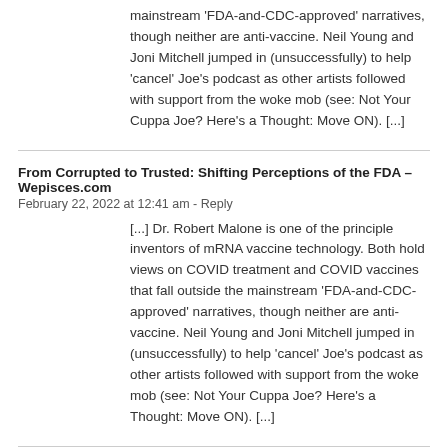[...] Dr. Robert Malone is one of the principle inventors of mRNA vaccine technology. Both hold views on COVID treatment and COVID vaccines that fall outside the mainstream ‘FDA-and-CDC-approved’ narratives, though neither are anti-vaccine. Neil Young and Joni Mitchell jumped in (unsuccessfully) to help ‘cancel’ Joe’s podcast as other artists followed with support from the woke mob (see: Not Your Cuppa Joe? Here’s a Thought: Move ON). [...]
From Corrupted to Trusted: Shifting Perceptions of the FDA – Wepisces.com
February 22, 2022 at 12:41 am - Reply
[...] Dr. Robert Malone is one of the principle inventors of mRNA vaccine technology. Both hold views on COVID treatment and COVID vaccines that fall outside the mainstream ‘FDA-and-CDC-approved’ narratives, though neither are anti-vaccine. Neil Young and Joni Mitchell jumped in (unsuccessfully) to help ‘cancel’ Joe’s podcast as other artists followed with support from the woke mob (see: Not Your Cuppa Joe? Here’s a Thought: Move ON). [...]
From Corrupted to Trusted: Shifting Perceptions of the FDA – Peter Gyel
February 22, 2022 at 12:49 am - Reply
[...] Dr. Robert Malone is one of the principle inventors of